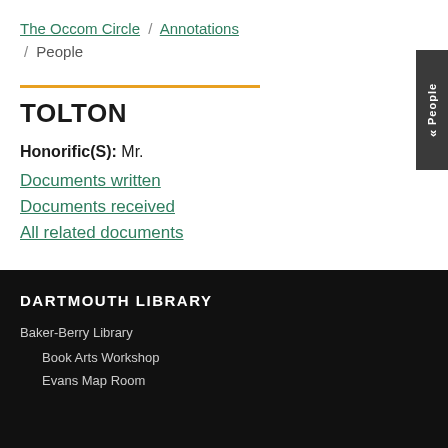The Occom Circle / Annotations / People
TOLTON
Honorific(S): Mr.
Documents written
Documents received
All related documents
DARTMOUTH LIBRARY
Baker-Berry Library
Book Arts Workshop
Evans Map Room